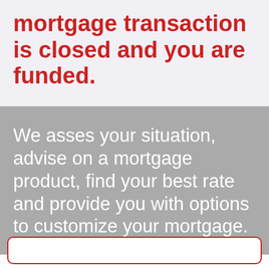mortgage transaction is closed and you are funded.
We asses your situation, advise on a mortgage product, find your best rate and provide you with options to customize your mortgage.